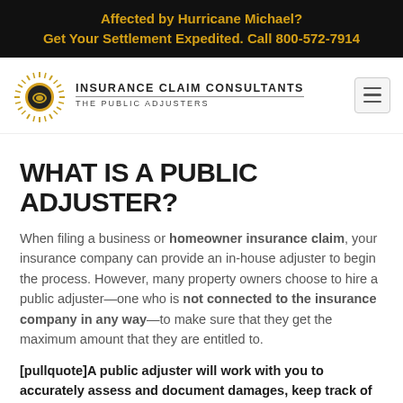Affected by Hurricane Michael?
Get Your Settlement Expedited. Call 800-572-7914
[Figure (logo): Insurance Claim Consultants — The Public Adjusters logo with sunburst graphic]
WHAT IS A PUBLIC ADJUSTER?
When filing a business or homeowner insurance claim, your insurance company can provide an in-house adjuster to begin the process. However, many property owners choose to hire a public adjuster—one who is not connected to the insurance company in any way—to make sure that they get the maximum amount that they are entitled to.
[pullquote]A public adjuster will work with you to accurately assess and document damages, keep track of all paperwork,